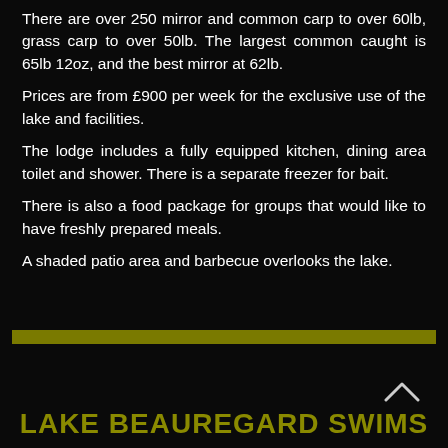There are over 250 mirror and common carp to over 60lb, grass carp to over 50lb. The largest common caught is 65lb 12oz, and the best mirror at 62lb.
Prices are from £900 per week for the exclusive use of the lake and facilities.
The lodge includes a fully equipped kitchen, dining area toilet and shower. There is a separate freezer for bait.
There is also a food package for groups that would like to have freshly prepared meals.
A shaded patio area and barbecue overlooks the lake.
LAKE BEAUREGARD SWIMS